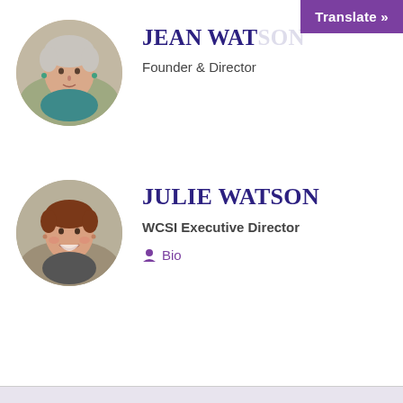JEAN WATSON
Founder & Director
[Figure (photo): Circular portrait photo of Jean Watson, an older woman with short white/gray hair, wearing a teal scarf, photographed outdoors]
[Figure (photo): Circular portrait photo of Julie Watson, a woman with short auburn hair, smiling broadly]
JULIE WATSON
WCSI Executive Director
Bio